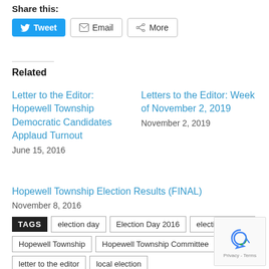Share this:
[Figure (other): Social share buttons: Tweet, Email, More]
Related
Letter to the Editor: Hopewell Township Democratic Candidates Applaud Turnout
June 15, 2016
Letters to the Editor: Week of November 2, 2019
November 2, 2019
Hopewell Township Election Results (FINAL)
November 8, 2016
TAGS  election day  Election Day 2016  election results  Hopewell Township  Hopewell Township Committee  letter to the editor  local election